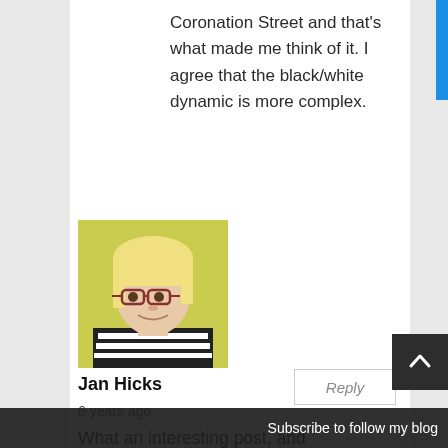Coronation Street and that's what made me think of it. I agree that the black/white dynamic is more complex.
[Figure (photo): Profile photo of Jan Hicks, a blonde woman wearing glasses and a striped top, photographed against a yellow-green background.]
Jan Hicks
Reply
6 years ago
What an interesting post, and interesting comments from your readers. I understand
Subscribe to follow my blog